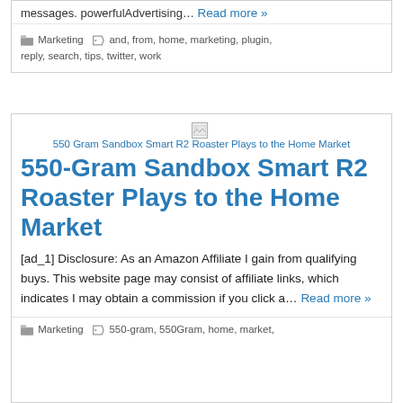messages. powerfulAdvertising… Read more »
Marketing  and, from, home, marketing, plugin, reply, search, tips, twitter, work
[Figure (illustration): Broken image placeholder with caption: 550 Gram Sandbox Smart R2 Roaster Plays to the Home Market]
550-Gram Sandbox Smart R2 Roaster Plays to the Home Market
[ad_1] Disclosure: As an Amazon Affiliate I gain from qualifying buys. This website page may consist of affiliate links, which indicates I may obtain a commission if you click a… Read more »
Marketing  550-gram, 550Gram, home, market,